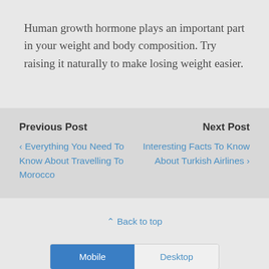Human growth hormone plays an important part in your weight and body composition. Try raising it naturally to make losing weight easier.
Previous Post
‹ Everything You Need To Know About Travelling To Morocco
Next Post
Interesting Facts To Know About Turkish Airlines ›
⌃ Back to top
Mobile | Desktop